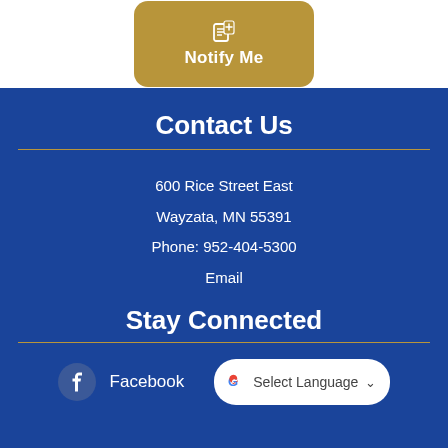[Figure (illustration): Golden/tan rounded rectangle button with a notification/bell icon and text 'Notify Me' in white]
Contact Us
600 Rice Street East
Wayzata, MN 55391
Phone: 952-404-5300
Email
Stay Connected
Facebook
[Figure (other): Google Translate widget button with Google G logo and 'Select Language' dropdown]